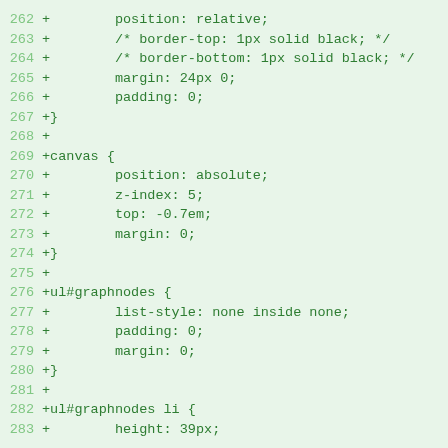[Figure (screenshot): Code diff screenshot showing CSS code lines 262-283 with green text on light green background. Lines show CSS rules for position, border, margin, padding, canvas, and ul#graphnodes selectors.]